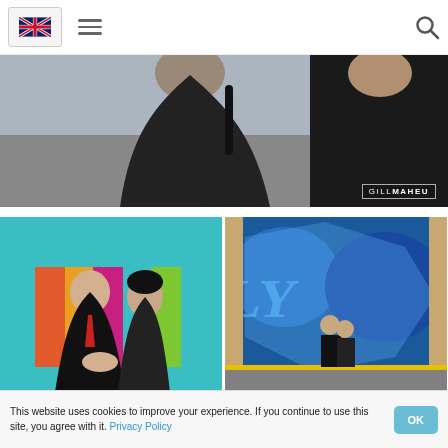[Navigation: UK flag icon, hamburger menu, search icon]
[Figure (photo): Hero photo: close-up of a man and woman dressed in black, standing outdoors. A 'GILL MAHEU' watermark is visible in the lower right corner with a thin rectangular border.]
[Figure (photo): Left gallery photo: a bald man and a woman with dark hair sitting together in front of a colorful striped wall (orange, yellow, magenta, teal). The man wears a black suit with a red tie; the woman wears a black outfit.]
[Figure (photo): Right gallery photo: a couple standing together in front of a large blue graffiti mural on a warehouse wall. Both dressed in black.]
This website uses cookies to improve your experience. If you continue to use this site, you agree with it. Privacy Policy